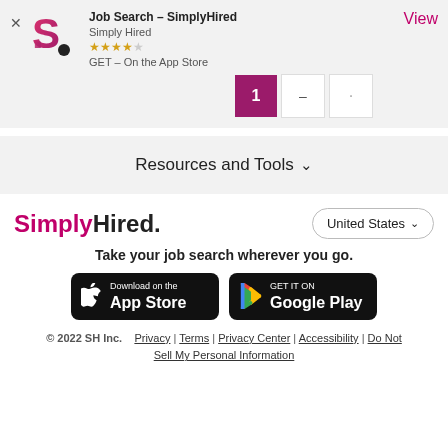[Figure (screenshot): App install banner for Job Search - SimplyHired app with logo, rating stars, GET On the App Store text, and View button]
[Figure (screenshot): Pagination row with page 1 active (magenta), dash button, and another page button]
Resources and Tools ⌄
[Figure (logo): SimplyHired. logo with Simply in magenta and Hired in black]
Take your job search wherever you go.
[Figure (screenshot): Download on the App Store button (black rounded rectangle)]
[Figure (screenshot): GET IT ON Google Play button (black rounded rectangle)]
© 2022 SH Inc.   Privacy | Terms | Privacy Center | Accessibility | Do Not Sell My Personal Information